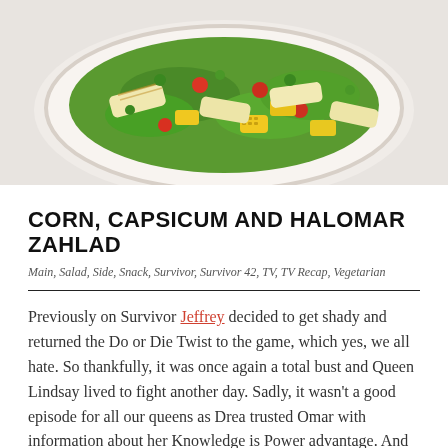[Figure (photo): A white plate filled with a colorful salad featuring grilled halloumi cheese, corn kernels, cherry tomatoes, green herbs, and capsicum on a marble surface.]
CORN, CAPSICUM AND HALOMAR ZAHLAD
Main, Salad, Side, Snack, Survivor, Survivor 42, TV, TV Recap, Vegetarian
Previously on Survivor Jeffrey decided to get shady and returned the Do or Die Twist to the game, which yes, we all hate. So thankfully, it was once again a total bust and Queen Lindsay lived to fight another day. Sadly, it wasn't a good episode for all our queens as Drea trusted Omar with information about her Knowledge is Power advantage. And then our King